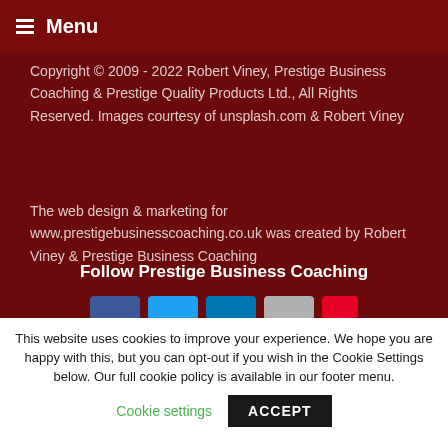Menu
Copyright © 2009 - 2022 Robert Viney, Prestige Business Coaching & Prestige Quality Products Ltd., All Rights Reserved. Images courtesy of unsplash.com & Robert Viney
The web design & marketing for www.prestigebusinesscoaching.co.uk was created by Robert Viney & Prestige Business Coaching
Follow Prestige Business Coaching
[Figure (other): Social media sharing buttons: Facebook, Twitter, LinkedIn, Google+, Pinterest]
This website uses cookies to improve your experience. We hope you are happy with this, but you can opt-out if you wish in the Cookie Settings below. Our full cookie policy is available in our footer menu.
Cookie settings
ACCEPT